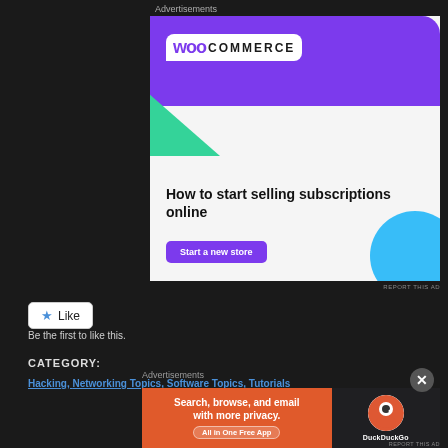Advertisements
[Figure (screenshot): WooCommerce advertisement banner: purple background with WooCommerce logo, green geometric shape, blue circle, headline 'How to start selling subscriptions online', and purple 'Start a new store' button]
REPORT THIS AD
Like
Be the first to like this.
CATEGORY:
Hacking, Networking Topics, Software Topics, Tutorials
Advertisements
[Figure (screenshot): DuckDuckGo advertisement banner: orange section with text 'Search, browse, and email with more privacy. All in One Free App' and dark section with DuckDuckGo duck logo]